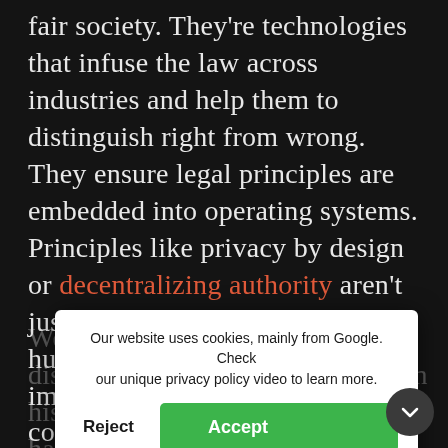fair society. They're technologies that infuse the law across industries and help them to distinguish right from wrong. They ensure legal principles are embedded into operating systems. Principles like privacy by design or decentralizing authority aren't just efficient, they are essential human rights. If we don't implement them we'll end up confused and at war with each other when using any service.
We [faded] disposal than at any time in human history. We have better communication chan[...] are computing power than any generation bef[...] us. Maybe we just need a smarter way to th[...]
Our website uses cookies, mainly from Google. Check our unique privacy policy video to learn more.
Reject
Accept